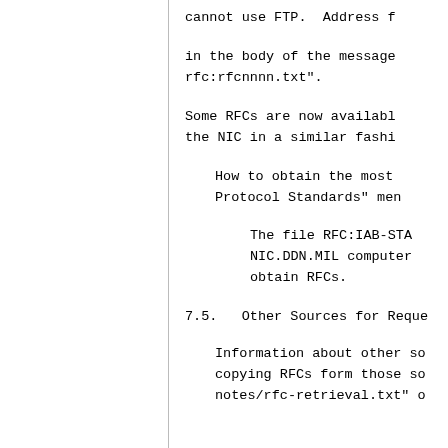cannot use FTP.  Address f
in the body of the message
rfc:rfcnnnn.txt".
Some RFCs are now availabl
the NIC in a similar fashi
How to obtain the most
Protocol Standards" men
The file RFC:IAB-STA
NIC.DDN.MIL computer
obtain RFCs.
7.5.   Other Sources for Reque
Information about other so
copying RFCs form those so
notes/rfc-retrieval.txt" o